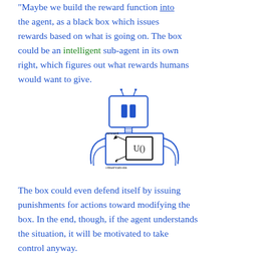Maybe we build the reward function into the agent, as a black box which issues rewards based on what is going on. The box could be an intelligent sub-agent in its own right, which figures out what rewards humans would want to give.
[Figure (illustration): A hand-drawn robot with a square TV-like head with two antennae and blue rectangular eyes. The body is a box containing a smaller black box labeled 'U()' with arrows labeled 'reward' (pointing up-left) and 'observations' (pointing down-right). The robot has arc-shaped arms on the sides.]
The box could even defend itself by issuing punishments for actions toward modifying the box. In the end, though, if the agent understands the situation, it will be motivated to take control anyway.